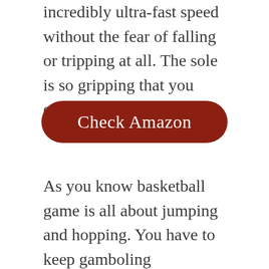incredibly ultra-fast speed without the fear of falling or tripping at all. The sole is so gripping that you cannot slip on any ground.
[Figure (other): A dark red rounded button labeled 'Check Amazon']
As you know basketball game is all about jumping and hopping. You have to keep gamboling throughout the entire game. If you want to be one of the funniest athletes you should pay proper attention towards the shoes as well. If you do not choose the shoe rightly, trust me, the game becomes more of an endurance test rather than an enjoying experience. Have you ever thought about the designing and making of the basketball shoe,